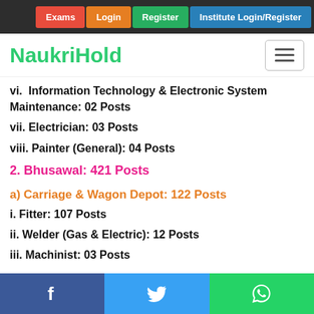NaukriHold — nav: Exams, Login, Register, Institute Login/Register
vi. Information Technology & Electronic System Maintenance: 02 Posts
vii. Electrician: 03 Posts
viii. Painter (General): 04 Posts
2. Bhusawal: 421 Posts
a) Carriage & Wagon Depot: 122 Posts
i. Fitter: 107 Posts
ii. Welder (Gas & Electric): 12 Posts
iii. Machinist: 03 Posts
Social share buttons: Facebook, Twitter, WhatsApp